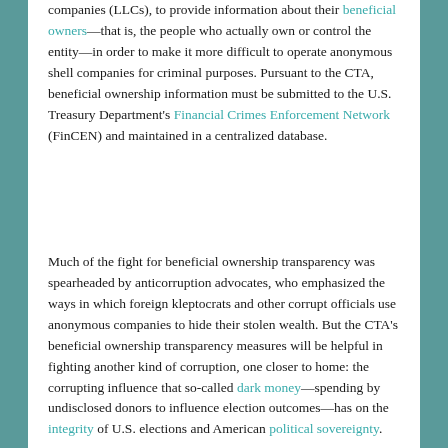companies (LLCs), to provide information about their beneficial owners—that is, the people who actually own or control the entity—in order to make it more difficult to operate anonymous shell companies for criminal purposes. Pursuant to the CTA, beneficial ownership information must be submitted to the U.S. Treasury Department's Financial Crimes Enforcement Network (FinCEN) and maintained in a centralized database.
Much of the fight for beneficial ownership transparency was spearheaded by anticorruption advocates, who emphasized the ways in which foreign kleptocrats and other corrupt officials use anonymous companies to hide their stolen wealth. But the CTA's beneficial ownership transparency measures will be helpful in fighting another kind of corruption, one closer to home: the corrupting influence that so-called dark money—spending by undisclosed donors to influence election outcomes—has on the integrity of U.S. elections and American political sovereignty.